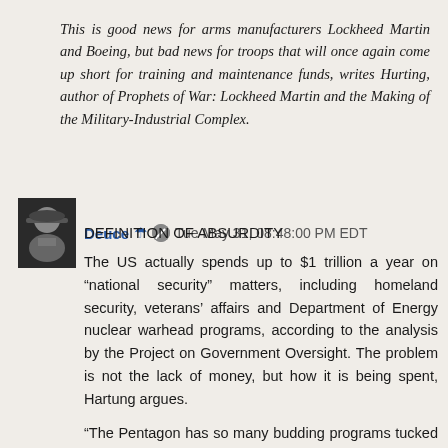This is good news for arms manufacturers Lockheed Martin and Boeing, but bad news for troops that will once again come up short for training and maintenance funds, writes Hurting, author of Prophets of War: Lockheed Martin and the Making of the Military-Industrial Complex.
Deuce ☂ 🖊 Tue May 31, 08:48:00 PM EDT
DEFINITION OF ABSURDITY
The US actually spends up to $1 trillion a year on “national security” matters, including homeland security, veterans’ affairs and Department of Energy nuclear warhead programs, according to the analysis by the Project on Government Oversight. The problem is not the lack of money, but how it is being spent, Hartung argues.
“The Pentagon has so many budding programs tucked away in so many different lines of its